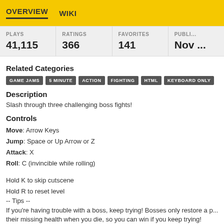OVERVIEW   WIKI
| PLAYS | RATINGS | FAVORITES | PUBLI... |
| --- | --- | --- | --- |
| 41,115 | 366 | 141 | Nov ... |
Related Categories
GAME JAMS
5 MINUTE
ACTION
FIGHTING
HTML
KEYBOARD ONLY
Description
Slash through three challenging boss fights!
Controls
Move: Arrow Keys
Jump: Space or Up Arrow or Z
Attack: X
Roll: C (invincible while rolling)
Hold K to skip cutscene
Hold R to reset level
-- Tips --
If you're having trouble with a boss, keep trying! Bosses only restore a part of their missing health when you die, so you can win if you keep trying!